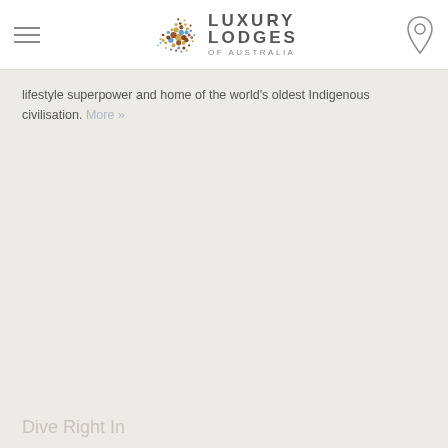Luxury Lodges of Australia
lifestyle superpower and home of the world's oldest Indigenous civilisation. More »
Dive Right In